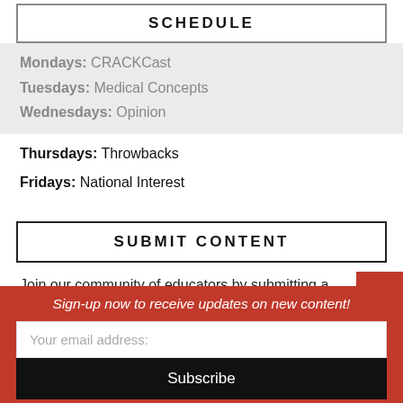SCHEDULE
Mondays: CRACKCast
Tuesdays: Medical Concepts
Wednesdays: Opinion
Thursdays: Throwbacks
Fridays: National Interest
SUBMIT CONTENT
Join our community of educators by submitting a blog post, opinion piece, chalk talk, or lecture. Share, teach
Sign-up now to receive updates on new content!
Your email address:
Subscribe